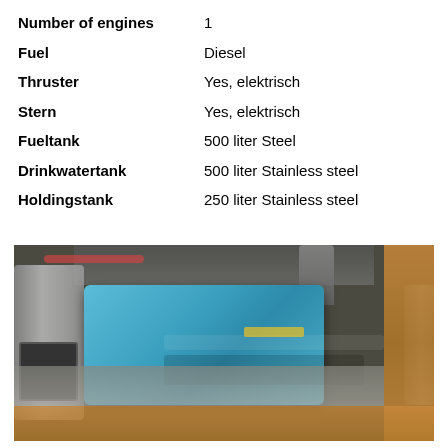| Attribute | Value |
| --- | --- |
| Number of engines | 1 |
| Fuel | Diesel |
| Thruster | Yes, elektrisch |
| Stern | Yes, elektrisch |
| Fueltank | 500 liter Steel |
| Drinkwatertank | 500 liter Stainless steel |
| Holdingstank | 250 liter Stainless steel |
[Figure (photo): Engine room interior showing a blue marine diesel engine (appears to be a Perkins) installed in the bilge of a yacht, surrounded by pipes, cables, batteries, and wooden cabinetry.]